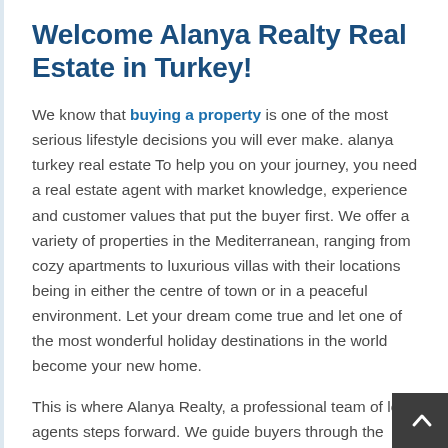Welcome Alanya Realty Real Estate in Turkey!
We know that buying a property is one of the most serious lifestyle decisions you will ever make. alanya turkey real estate To help you on your journey, you need a real estate agent with market knowledge, experience and customer values that put the buyer first. We offer a variety of properties in the Mediterranean, ranging from cozy apartments to luxurious villas with their locations being in either the centre of town or in a peaceful environment. Let your dream come true and let one of the most wonderful holiday destinations in the world become your new home.
This is where Alanya Realty, a professional team of local agents steps forward. We guide buyers through the whole journey from choosing the home of your dream to signing for your title deeds and settling in. With a